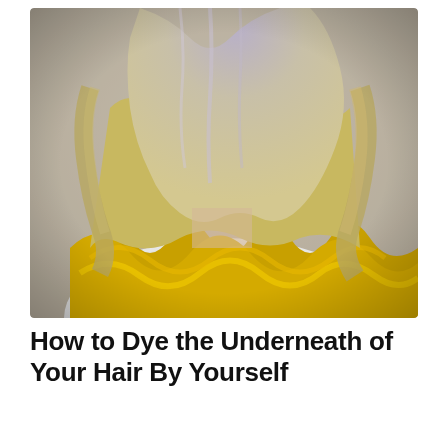[Figure (photo): Back view of a woman with shoulder-length wavy hair styled in an ombre dye job: silver/lavender at the roots transitioning to bright yellow/golden at the ends. She is wearing a white t-shirt.]
How to Dye the Underneath of Your Hair By Yourself